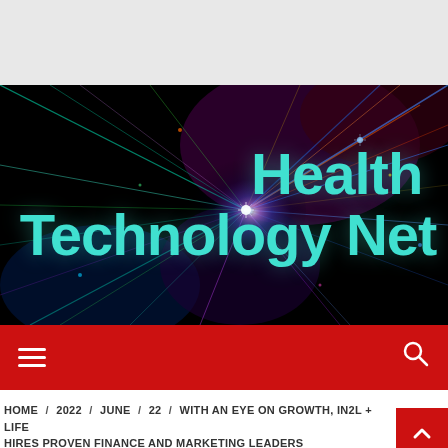[Figure (illustration): Hero banner with abstract colorful light burst / explosion on black background. Text 'Health Technology Net' overlaid in large teal/cyan bold font.]
Health Technology Net
Navigation bar with hamburger menu icon and search icon on red background
HOME / 2022 / JUNE / 22 / WITH AN EYE ON GROWTH, IN2L + LIFE HIRES PROVEN FINANCE AND MARKETING LEADERS